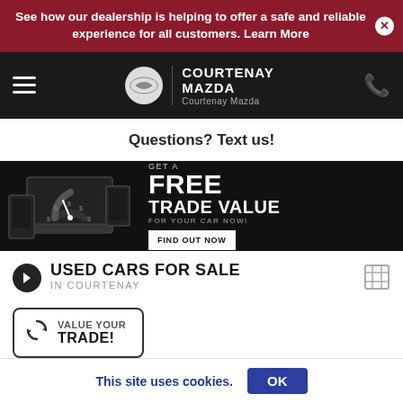See how our dealership is helping to offer a safe and reliable experience for all customers. Learn More
[Figure (logo): Mazda logo circle with Courtenay Mazda dealership name and navigation bar]
Questions? Text us!
[Figure (infographic): Black banner: GET A FREE TRADE VALUE FOR YOUR CAR NOW! with FIND OUT NOW button and gauge/device imagery]
USED CARS FOR SALE IN COURTENAY
VALUE YOUR TRADE!
Sorry: Your current filter
This site uses cookies.